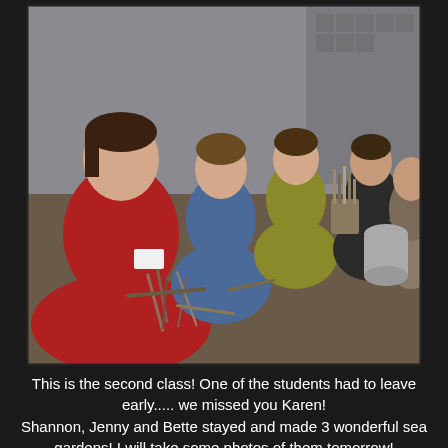[Figure (photo): Group of students (women) sitting around a workshop table with tools, art supplies, and materials spread out. A woman in a red sweater is prominent in the foreground.]
This is the second class! One of the students had to leave early..... we missed you Karen! Shannon, Jenny and Bette stayed and made 3 wonderful sea gardens! I will take some photos of them tomorrow!
[Figure (photo): A person wearing a white dust mask/respirator in what appears to be a workshop or studio setting, with a fire extinguisher visible in the background and metal cylinders on the left.]